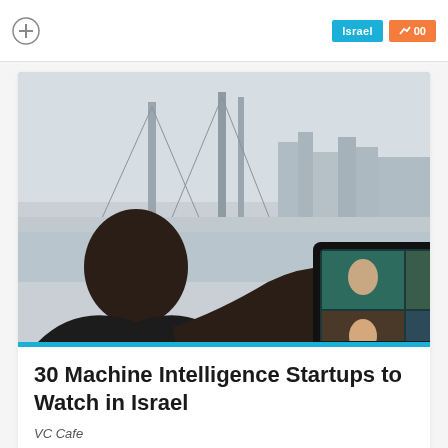Israel  00
[Figure (photo): Person seen from behind holding a tablet displaying a video conference call with multiple participants, with a bridge and city skyline in the background]
30 Machine Intelligence Startups to Watch in Israel
VC Cafe